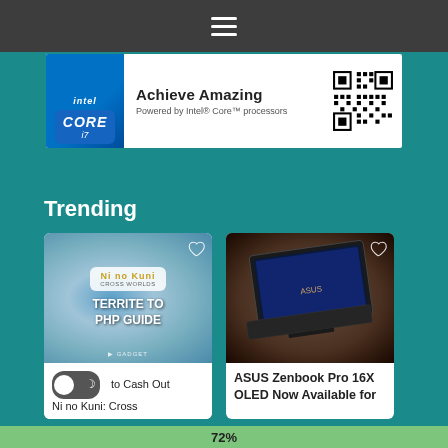Navigation menu (hamburger icon)
[Figure (infographic): Intel Core i7 advertisement banner with logo, 'Achieve Amazing' headline, 'Powered by Intel Core processors' subline, and QR code]
Trending
[Figure (photo): Ni no Kuni Cross Worlds game graphic with text 'TERRITE TO PHP GUIDE' and Gadget branding]
[Figure (photo): ASUS Zenbook Pro 16X OLED laptop photographed on rocky ground]
to Cash Out Ni no Kuni: Cross
ASUS Zenbook Pro 16X OLED Now Available for
72%